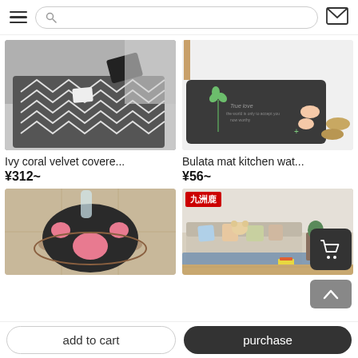Navigation bar with hamburger menu, search bar, and mail icon
[Figure (photo): Grey zigzag pattern carpet/rug on floor with black pillow and small items]
Ivy coral velvet covere...
¥312~
[Figure (photo): Dark grey mat with four-leaf clover design, person standing on it with sandals nearby]
Bulata mat kitchen wat...
¥56~
[Figure (photo): Round cat paw shaped rug in black and pink on tiled floor]
[Figure (photo): Living room with sofa, cushions, and blue area rug - 九洲鹿 brand]
add to cart | purchase